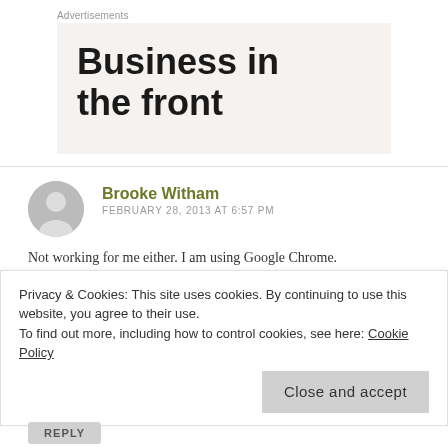Advertisements
[Figure (other): Advertisement banner with large bold text reading 'Business in the front' on a light beige/cream background]
Brooke Witham
FEBRUARY 28, 2013 AT 6:57 PM
Not working for me either. I am using Google Chrome.
Privacy & Cookies: This site uses cookies. By continuing to use this website, you agree to their use.
To find out more, including how to control cookies, see here: Cookie Policy
Close and accept
REPLY